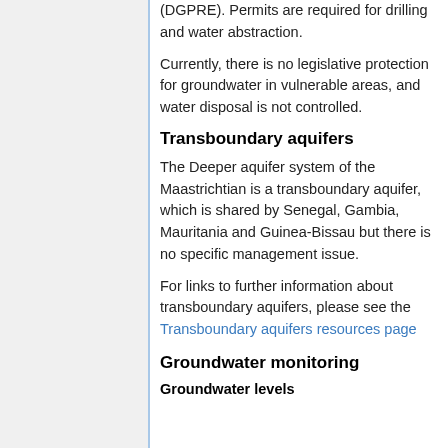(DGPRE). Permits are required for drilling and water abstraction.
Currently, there is no legislative protection for groundwater in vulnerable areas, and water disposal is not controlled.
Transboundary aquifers
The Deeper aquifer system of the Maastrichtian is a transboundary aquifer, which is shared by Senegal, Gambia, Mauritania and Guinea-Bissau but there is no specific management issue.
For links to further information about transboundary aquifers, please see the Transboundary aquifers resources page
Groundwater monitoring
Groundwater levels